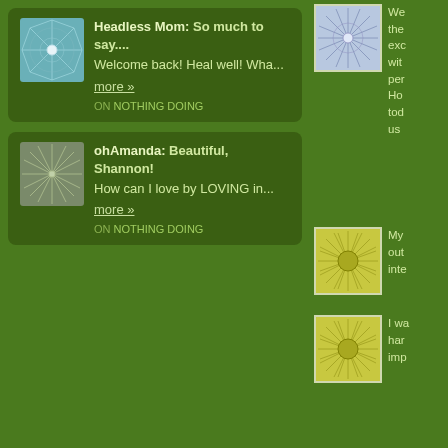Headless Mom: So much to say.... Welcome back! Heal well! Wha... more » ON NOTHING DOING
ohAmanda: Beautiful, Shannon! How can I love by LOVING in... more » ON NOTHING DOING
We the exc wit per Ho tod us
My out inte
I wa har imp